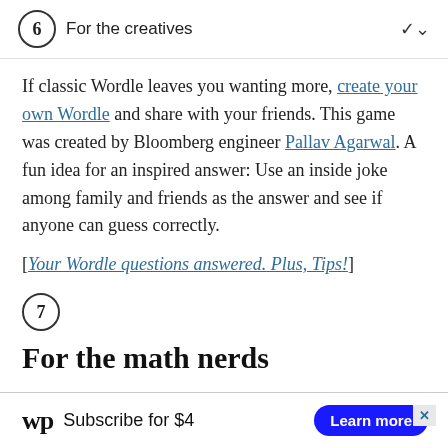6  For the creatives
If classic Wordle leaves you wanting more, create your own Wordle and share with your friends. This game was created by Bloomberg engineer Pallav Agarwal. A fun idea for an inspired answer: Use an inside joke among family and friends as the answer and see if anyone can guess correctly.
[Your Wordle questions answered. Plus, Tips!]
7
For the math nerds
[Figure (other): Washington Post advertisement bar: WP logo, 'Subscribe for $4', 'Learn more' button]